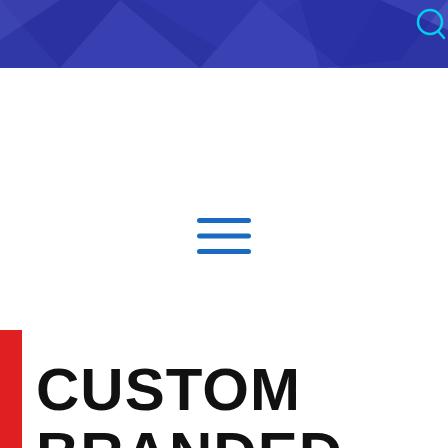[Figure (illustration): Blue/purple geometric polygon background header banner with triangular facets in varying shades of blue and purple. A circular search icon is visible in the top right corner.]
[Figure (other): Hamburger menu icon — three horizontal blue lines centered on the page.]
[Figure (other): Red vertical bar on the left edge, partially visible.]
CUSTOM BRANDED